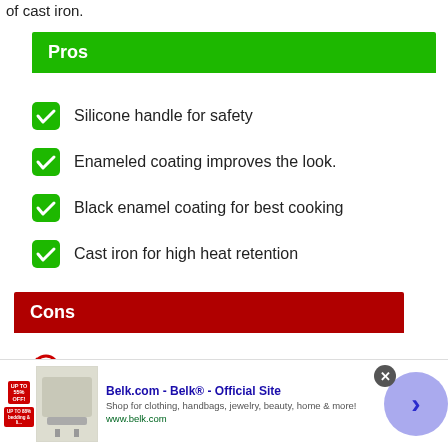of cast iron.
Pros
Silicone handle for safety
Enameled coating improves the look.
Black enamel coating for best cooking
Cast iron for high heat retention
Cons
Silicone grip not available with the package.
The finish is not good.
Belk.com - Belk® - Official Site
Shop for clothing, handbags, jewelry, beauty, home & more!
www.belk.com